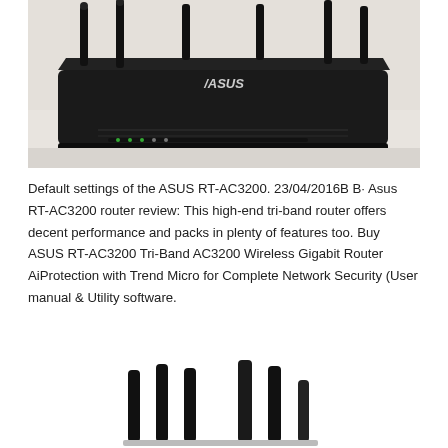[Figure (photo): ASUS RT-AC3200 router photographed from the front-top angle on a white surface, showing the black body with six antennas extended upward, ASUS logo on top, and LED indicator lights on the front edge.]
Default settings of the ASUS RT-AC3200. 23/04/2016B B· Asus RT-AC3200 router review: This high-end tri-band router offers decent performance and packs in plenty of features too. Buy ASUS RT-AC3200 Tri-Band AC3200 Wireless Gigabit Router AiProtection with Trend Micro for Complete Network Security (User manual & Utility software.
[Figure (photo): Six black router antennas of varying heights standing upright side by side against a white background.]